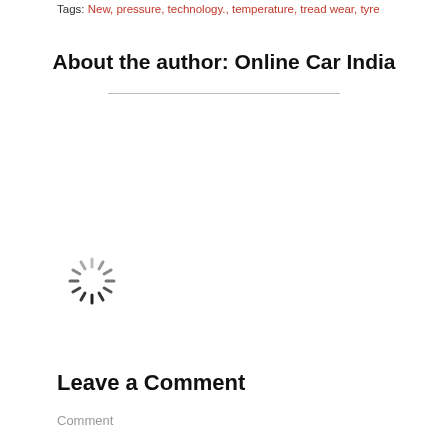Tags: New, pressure, technology., temperature, tread wear, tyre
About the author: Online Car India
[Figure (other): Loading spinner graphic (animated spinner icon)]
[Figure (other): Black dropdown/navigation panel overlaying partial text, showing partial words: In, th, M, Su, R8, Ce, in, Ro]
Recent posts In Home
Leave a Comment
Comment